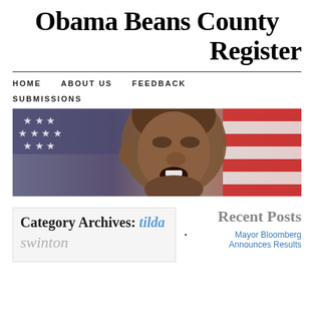Obama Beans County Register
HOME   ABOUT US   FEEDBACK   SUBMISSIONS
[Figure (photo): Black and white photo of Barack Obama speaking with an American flag in the background]
Category Archives: tilda swinton
Recent Posts
Mayor Bloomberg Announces Results